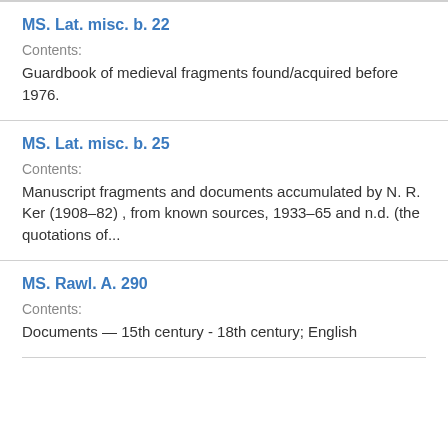MS. Lat. misc. b. 22
Contents:
Guardbook of medieval fragments found/acquired before 1976.
MS. Lat. misc. b. 25
Contents:
Manuscript fragments and documents accumulated by N. R. Ker (1908–82) , from known sources, 1933–65 and n.d. (the quotations of...
MS. Rawl. A. 290
Contents:
Documents — 15th century - 18th century; English